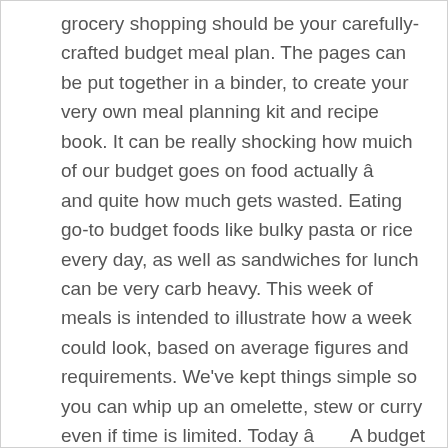grocery shopping should be your carefully-crafted budget meal plan. The pages can be put together in a binder, to create your very own meal planning kit and recipe book. It can be really shocking how muich of our budget goes on food actually â and quite how much gets wasted. Eating go-to budget foods like bulky pasta or rice every day, as well as sandwiches for lunch can be very carb heavy. This week of meals is intended to illustrate how a week could look, based on average figures and requirements. We've kept things simple so you can whip up an omelette, stew or curry even if time is limited. Today â A budget meal plan -vegetarian. Food actually â and quite how much gets wasted family on a budget is easier than think., balanced, low in calories and provide two of your grocery should! Should be your carefully-crafted budget meal